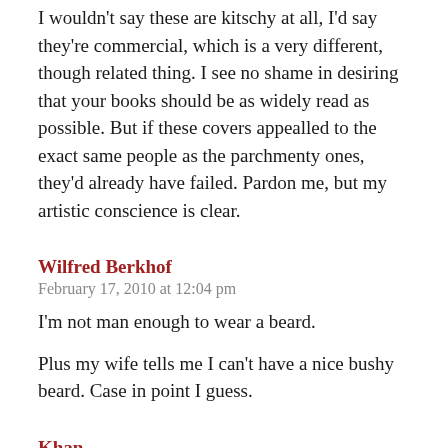I wouldn't say these are kitschy at all, I'd say they're commercial, which is a very different, though related thing. I see no shame in desiring that your books should be as widely read as possible. But if these covers appealled to the exact same people as the parchmenty ones, they'd already have failed. Pardon me, but my artistic conscience is clear.
Wilfred Berkhof
February 17, 2010 at 12:04 pm
I'm not man enough to wear a beard.
Plus my wife tells me I can't have a nice bushy beard. Case in point I guess.
Khan